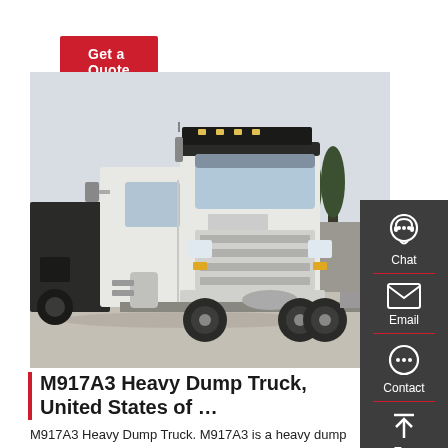Get a Quote
[Figure (photo): White HOWO heavy duty truck/semi-trailer tractor photographed outdoors in a lot with trees in background]
M917A3 Heavy Dump Truck, United States of …
M917A3 Heavy Dump Truck. M917A3 is a heavy dump truck (HDT) designed and developed by M...